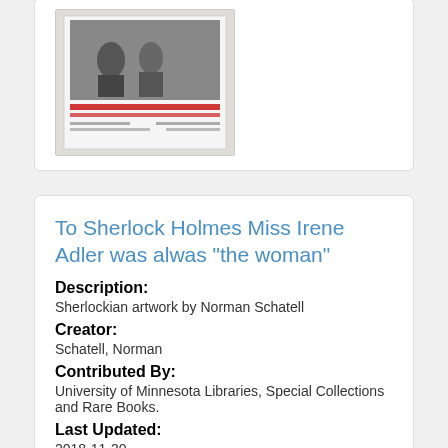[Figure (photo): Thumbnail image of a document/book cover with a black and white photograph of people and red text lines below]
To Sherlock Holmes Miss Irene Adler was alwas "the woman"
Description:
Sherlockian artwork by Norman Schatell
Creator:
Schatell, Norman
Contributed By:
University of Minnesota Libraries, Special Collections and Rare Books.
Last Updated:
2018-11-30
[Figure (illustration): Thumbnail sketch/drawing showing figures, partially visible at bottom of page]